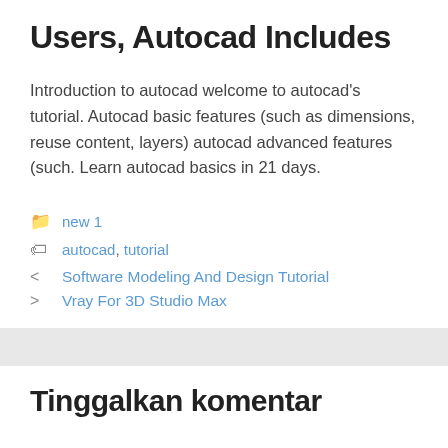Users, Autocad Includes
Introduction to autocad welcome to autocad's tutorial. Autocad basic features (such as dimensions, reuse content, layers) autocad advanced features (such. Learn autocad basics in 21 days.
new 1
autocad, tutorial
Software Modeling And Design Tutorial
Vray For 3D Studio Max
Tinggalkan komentar